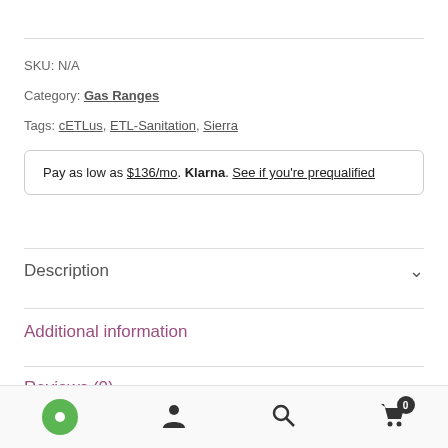SKU: N/A
Category: Gas Ranges
Tags: cETLus, ETL-Sanitation, Sierra
Pay as low as $136/mo. Klarna. See if you're prequalified
Description
Additional information
Reviews (0)